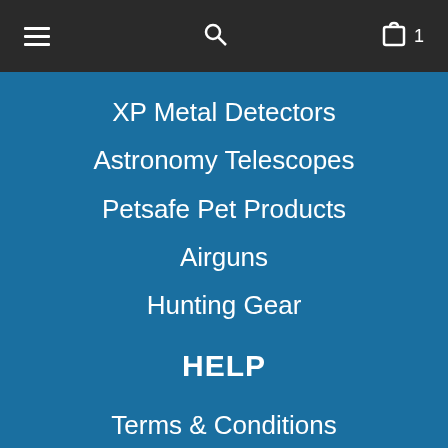Navigation bar with hamburger menu, search icon, and cart with count 1
XP Metal Detectors
Astronomy Telescopes
Petsafe Pet Products
Airguns
Hunting Gear
HELP
Terms & Conditions
Stock Availability & Pricing
Returns Policy
CONTACT US